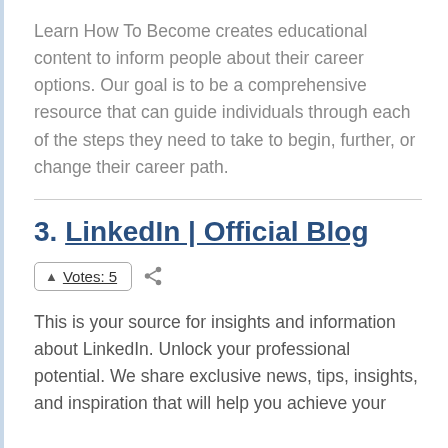Learn How To Become creates educational content to inform people about their career options. Our goal is to be a comprehensive resource that can guide individuals through each of the steps they need to take to begin, further, or change their career path.
3. LinkedIn | Official Blog
▲ Votes: 5
This is your source for insights and information about LinkedIn. Unlock your professional potential. We share exclusive news, tips, insights, and inspiration that will help you achieve your